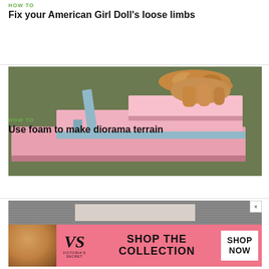HOW TO
Fix your American Girl Doll's loose limbs
[Figure (photo): Hands cutting or shaping pink foam blocks using a blue tool, with layered pink foam pieces arranged as diorama terrain steps on a green surface.]
HOW TO
Use foam to make diorama terrain
[Figure (photo): Victoria's Secret advertisement banner with a model on the left, VS logo in the center-left, 'SHOP THE COLLECTION' text in the middle, and a 'SHOP NOW' button on the right.]